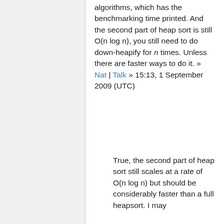algorithms, which has the benchmarking time printed. And the second part of heap sort is still O(n log n), you still need to do down-heapify for n times. Unless there are faster ways to do it. » Nat | Talk » 15:13, 1 September 2009 (UTC)
True, the second part of heap sort still scales at a rate of O(n log n) but should be considerably faster than a full heapsort. I may